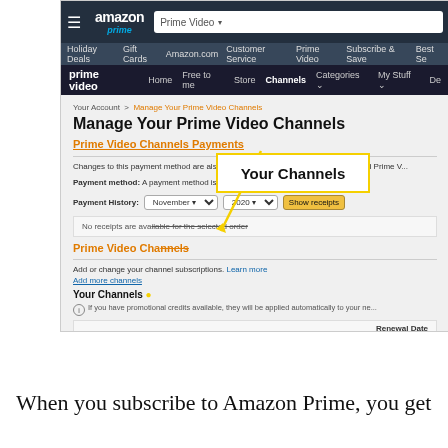[Figure (screenshot): Amazon Prime Video website screenshot showing 'Manage Your Prime Video Channels' page with Prime Video Channels Payments section, payment method info, payment history dropdown (November 2020), receipts section, Prime Video Channels section with 'Your Channels' label, and a callout box labeled 'Your Channels' with a yellow arrow pointing to the 'Your Channels' label on the page.]
When you subscribe to Amazon Prime, you get